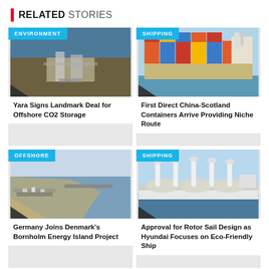RELATED STORIES
[Figure (photo): Aerial view of offshore CO2 storage facility with rocky coastline and industrial structures]
Yara Signs Landmark Deal for Offshore CO2 Storage
[Figure (photo): Large container ship loaded with colorful shipping containers against blue sky]
First Direct China-Scotland Containers Arrive Providing Niche Route
[Figure (photo): Aerial view of Bornholm port and harbor area from above]
Germany Joins Denmark's Bornholm Energy Island Project
[Figure (photo): Large white LNG tanker ship with rotor sails at sea]
Approval for Rotor Sail Design as Hyundai Focuses on Eco-Friendly Ship